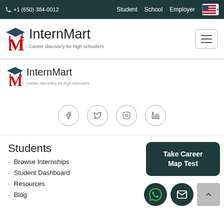+1 (650) 384-0012  Student  School  Employer
[Figure (logo): InternMart logo with graduation cap icon and red M, tagline: Career discovery for high schoolers]
[Figure (logo): InternMart logo (smaller) with graduation cap icon and red M, tagline: Career discovery for high schoolers]
[Figure (infographic): Social media icons: Facebook, Twitter, Instagram, LinkedIn in circles]
Students
Browse Internships
Student Dashboard
Resources
Blog
[Figure (other): Take Career Map Test button (dark teal rounded rectangle)]
[Figure (other): WhatsApp icon, mail icon, and scroll-to-top button]